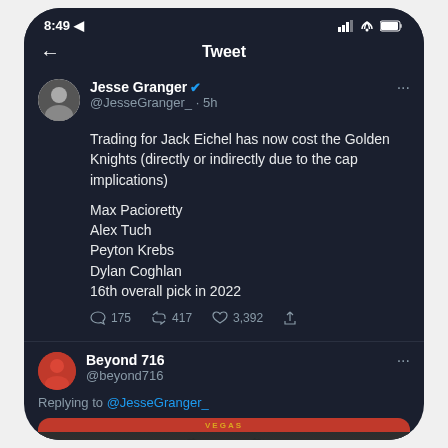8:49 · Tweet
Jesse Granger @JesseGranger_ · 5h
Trading for Jack Eichel has now cost the Golden Knights (directly or indirectly due to the cap implications)
Max Pacioretty
Alex Tuch
Peyton Krebs
Dylan Coghlan
16th overall pick in 2022
175  417  3,392
Beyond 716 @beyond716
Replying to @JesseGranger_
[Figure (photo): A Vegas Golden Knights hockey jersey, dark grey/black with red collar, shown from the front. The word VEGAS appears on the red collar area.]